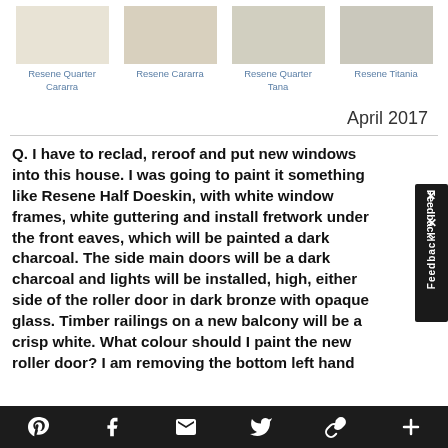[Figure (other): Four paint color swatches: Resene Quarter Cararra (very light cream), Resene Cararra (light beige), Resene Quarter Tana (light gray-green), Resene Titania (light gray)]
Resene Quarter Cararra   Resene Cararra   Resene Quarter Tana   Resene Titania
April 2017
Q. I have to reclad, reroof and put new windows into this house. I was going to paint it something like Resene Half Doeskin, with white window frames, white guttering and install fretwork under the front eaves, which will be painted a dark charcoal. The side main doors will be a dark charcoal and lights will be installed, high, either side of the roller door in dark bronze with opaque glass. Timber railings on a new balcony will be a crisp white. What colour should I paint the new roller door? I am removing the bottom left hand
Pinterest  Facebook  Email  Twitter  Link  +